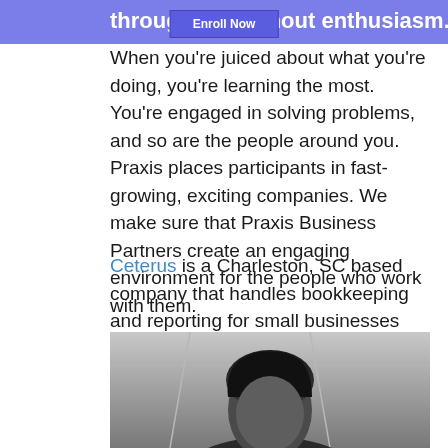through life without enthusiasm.
When you're juiced about what you're doing, you're learning the most. You're engaged in solving problems, and so are the people around you. Praxis places participants in fast-growing, exciting companies. We make sure that Praxis Business Partners create an engaging environment for the people who work with them.
Ceterus is a Charleston, SC based company that handles bookkeeping and reporting for small businesses and franchise owners. I recently had the chance to ask the founder, Levi Morehouse, a few questions about his story, company culture, and experience with Praxis. Here's what he had to say:
[Figure (photo): Black and white photo of a person (Levi Morehouse), showing top of head with dark hair, taken from below looking upward indoors.]